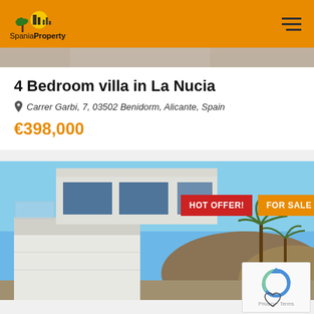Spania Property
[Figure (photo): Partial view of property photo strip at top]
4 Bedroom villa in La Nucia
Carrer Garbi, 7, 03502 Benidorm, Alicante, Spain
€398,000
[Figure (photo): Modern white villa with glass balcony railing and palm trees, blue sky background. Has HOT OFFER! and FOR SALE badges.]
[Figure (logo): reCAPTCHA widget with Privacy and Terms text]